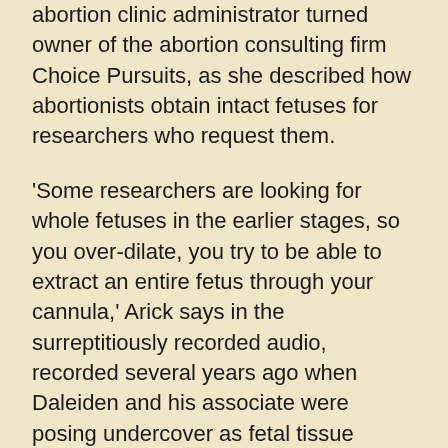abortion clinic administrator turned owner of the abortion consulting firm Choice Pursuits, as she described how abortionists obtain intact fetuses for researchers who request them.
'Some researchers are looking for whole fetuses in the earlier stages, so you over-dilate, you try to be able to extract an entire fetus through your cannula,' Arick says in the surreptitiously recorded audio, recorded several years ago when Daleiden and his associate were posing undercover as fetal tissue procurers.
'But then again, the over-dilation can be a risk to the woman, so you know, it's a game,' Arick adds.
The insouciance of the abortion industry veteran's remarks contrasted with their jarring subject matter has the potential to scandalize the consciences of even some who generally support the right to choose. However, the judge